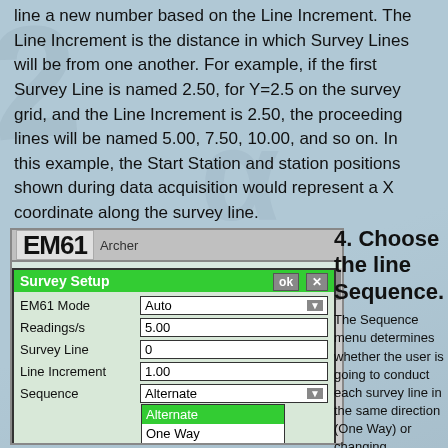line a new number based on the Line Increment. The Line Increment is the distance in which Survey Lines will be from one another. For example, if the first Survey Line is named 2.50, for Y=2.5 on the survey grid, and the Line Increment is 2.50, the proceeding lines will be named 5.00, 7.50, 10.00, and so on. In this example, the Start Station and station positions shown during data acquisition would represent a X coordinate along the survey line.
[Figure (screenshot): Screenshot of EM61 Survey Setup dialog showing fields: EM61 Mode (Auto), Readings/s (5.00), Survey Line (0), Line Increment (1.00), Sequence (Alternate with dropdown showing Alternate and One Way options), Direction, Start Station (0.000), Stn Increment (1.000). Green title bar with ok and X buttons.]
4. Choose the line Sequence.
The Sequence menu determines whether the user is going to conduct each survey line in the same direction (One Way) or changing directions for each line (Alternate).